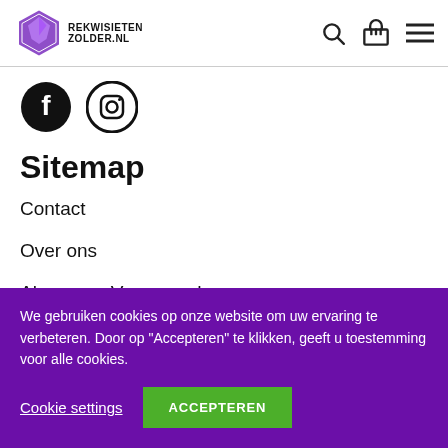Rekwisieten Zolder .NL [logo] [search icon] [basket icon] [menu icon]
[Figure (logo): Two circular social media icons: Facebook (f) and Instagram (camera outline), both black on white]
Sitemap
Contact
Over ons
Algemene Voorwaarden
We gebruiken cookies op onze website om uw ervaring te verbeteren. Door op "Accepteren" te klikken, geeft u toestemming voor alle cookies.
Cookie settings   ACCEPTEREN